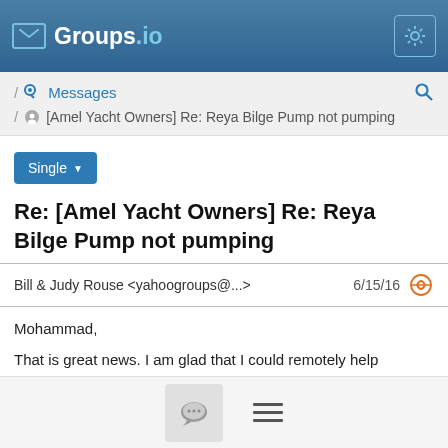Groups.io
/ Messages
/ [Amel Yacht Owners] Re: Reya Bilge Pump not pumping
Single
Re: [Amel Yacht Owners] Re: Reya Bilge Pump not pumping
Bill & Judy Rouse <yahoogroups@...>   6/15/16
Mohammad,

That is great news. I am glad that I could remotely help diagnose your problem.